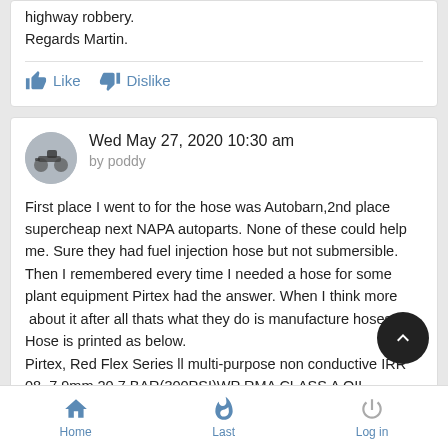highway robbery.
Regards Martin.
Like   Dislike
Wed May 27, 2020 10:30 am
by poddy
First place I went to for the hose was Autobarn,2nd place supercheap next NAPA autoparts. None of these could help me. Sure they had fuel injection hose but not submersible. Then I remembered every time I needed a hose for some plant equipment Pirtex had the answer. When I think more  about it after all thats what they do is manufacture hoses.
Hose is printed as below.
Pirtex, Red Flex Series ll multi-purpose non conductive IRR 08, 7.9mm 20.7 BAR(300PSI)WP RMA CLASS A OIL RESISTANCE
Home   Last   Log in